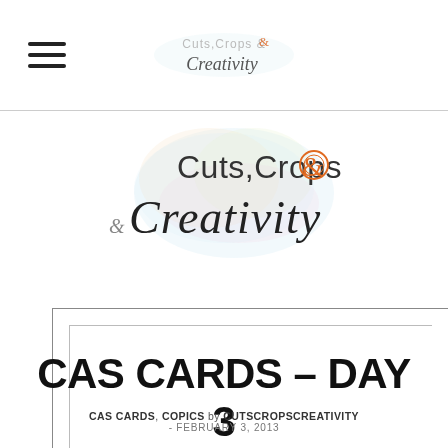Cuts, Crops & Creativity
[Figure (logo): Cuts, Crops & Creativity blog logo with watercolor splash background and decorative script/serif typography]
CAS CARDS – DAY 3 AND 4
CAS CARDS, COPICS by CUTSCROPSCREATIVITY - FEBRUARY 3, 2013